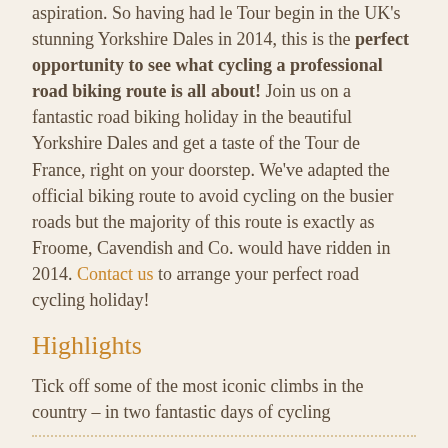aspiration. So having had le Tour begin in the UK's stunning Yorkshire Dales in 2014, this is the perfect opportunity to see what cycling a professional road biking route is all about! Join us on a fantastic road biking holiday in the beautiful Yorkshire Dales and get a taste of the Tour de France, right on your doorstep. We've adapted the official biking route to avoid cycling on the busier roads but the majority of this route is exactly as Froome, Cavendish and Co. would have ridden in 2014. Contact us to arrange your perfect road cycling holiday!
Highlights
Tick off some of the most iconic climbs in the country – in two fantastic days of cycling
Savour the stunning views of the Yorkshire